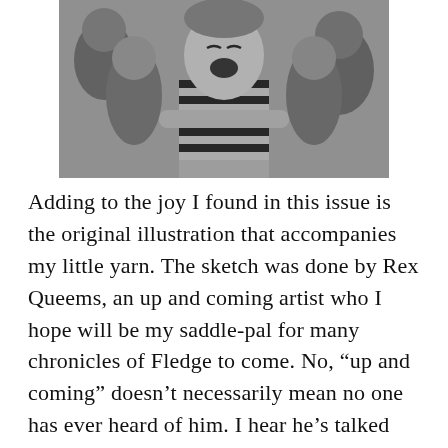[Figure (photo): Black and white photograph of children laughing and making expressive faces; one child in the center wears a striped shirt with arms crossed.]
Adding to the joy I found in this issue is the original illustration that accompanies my little yarn. The sketch was done by Rex Queems, an up and coming artist who I hope will be my saddle-pal for many chronicles of Fledge to come. No, “up and coming” doesn’t necessarily mean no one has ever heard of him. I hear he’s talked about on a popular blog. R.Q. is an old friend and a very gifted artists. I love the